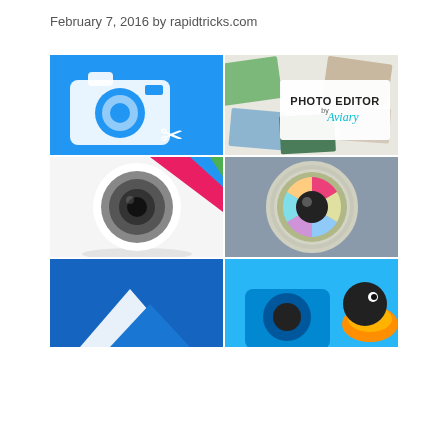February 7, 2016 by rapidtricks.com
[Figure (illustration): 2x3 grid of photo editing app icons/screenshots: top-left is a blue background with white camera and scissors icon, top-right is Photo Editor by Aviary with photos collage, middle-left is a white background camera lens app icon with colorful backdrop, middle-right is a gray background camera lens app icon, bottom-left is a blue background with partial logo, bottom-right is a blue background with toucan/bird app icon]